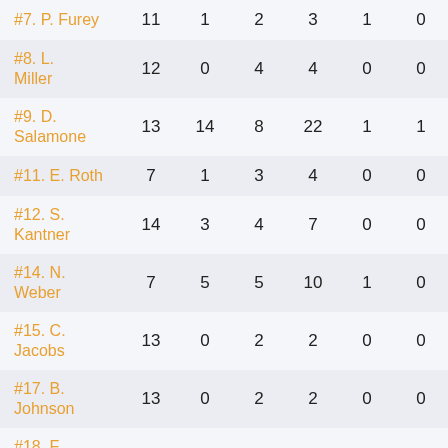| Player | GP | G | A | PTS | PP | SH |
| --- | --- | --- | --- | --- | --- | --- |
| #7. P. Furey | 11 | 1 | 2 | 3 | 1 | 0 |
| #8. L. Miller | 12 | 0 | 4 | 4 | 0 | 0 |
| #9. D. Salamone | 13 | 14 | 8 | 22 | 1 | 1 |
| #11. E. Roth | 7 | 1 | 3 | 4 | 0 | 0 |
| #12. S. Kantner | 14 | 3 | 4 | 7 | 0 | 0 |
| #14. N. Weber | 7 | 5 | 5 | 10 | 1 | 0 |
| #15. C. Jacobs | 13 | 0 | 2 | 2 | 0 | 0 |
| #17. B. Johnson | 13 | 0 | 2 | 2 | 0 | 0 |
| #18. F. Hosack | 13 | 5 | 4 | 9 | 0 | 0 |